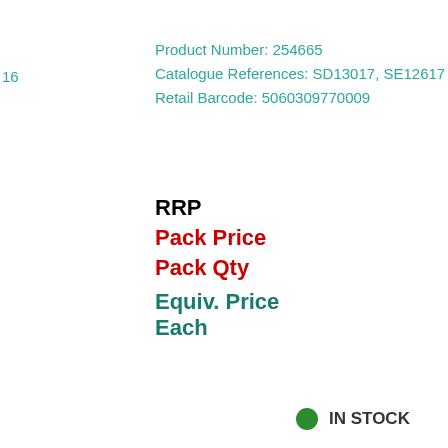16
Product Number: 254665
Catalogue References: SD13017, SE12617
Retail Barcode: 5060309770009
RRP  £1.06
Pack Price  £2.24
Pack Qty  6
Equiv. Price Each  £0.37
● IN STOCK
Packs: [1]  Add To Basket
[Figure (photo): Partial view of a 50th birthday card with teal/blue number 50 and decorative stars]